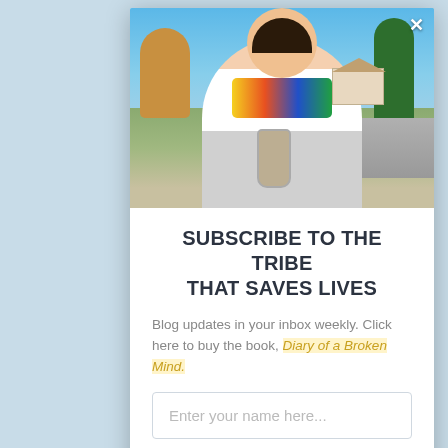[Figure (photo): A young man with curly hair and a dark cap, smiling outdoors on a sunny day. He is wearing a white t-shirt with colorful graphic design and holding a drink. Trees and suburban background visible.]
SUBSCRIBE TO THE TRIBE THAT SAVES LIVES
Blog updates in your inbox weekly. Click here to buy the book, Diary of a Broken Mind.